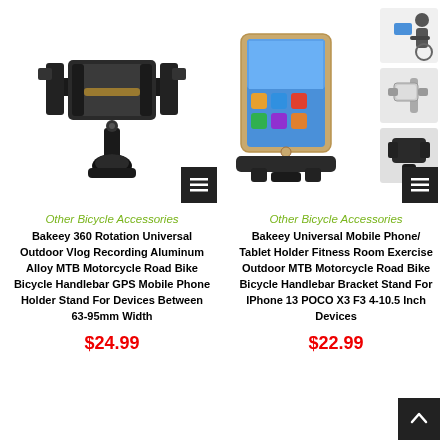[Figure (photo): Bakeey 360 rotation phone holder mount, black aluminum alloy bracket shown angled on white background]
[Figure (photo): Bakeey universal tablet/phone holder with main image of iPad in gold holder mount, plus three thumbnail images showing usage on exercise bike and close-up details]
Other Bicycle Accessories
Other Bicycle Accessories
Bakeey 360 Rotation Universal Outdoor Vlog Recording Aluminum Alloy MTB Motorcycle Road Bike Bicycle Handlebar GPS Mobile Phone Holder Stand For Devices Between 63-95mm Width
Bakeey Universal Mobile Phone/ Tablet Holder Fitness Room Exercise Outdoor MTB Motorcycle Road Bike Bicycle Handlebar Bracket Stand For IPhone 13 POCO X3 F3 4-10.5 Inch Devices
$24.99
$22.99